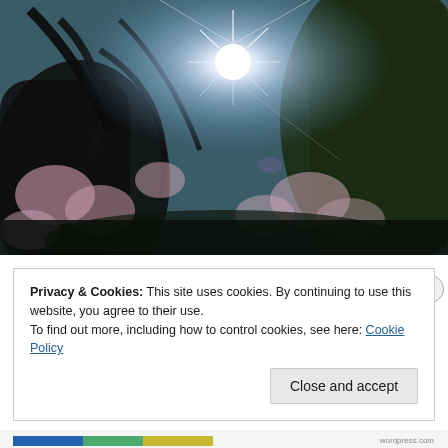[Figure (photo): Upward view through blooming spring trees (magnolias with pink-white flowers) with bright sunburst visible through dark branches against a blue sky]
Privacy & Cookies: This site uses cookies. By continuing to use this website, you agree to their use.
To find out more, including how to control cookies, see here: Cookie Policy
Close and accept